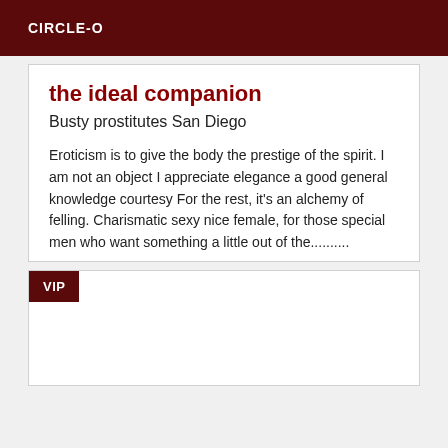CIRCLE-O
the ideal companion
Busty prostitutes San Diego
Eroticism is to give the body the prestige of the spirit. I am not an object I appreciate elegance a good general knowledge courtesy For the rest, it's an alchemy of felling. Charismatic sexy nice female, for those special men who want something a little out of the..........
VIP